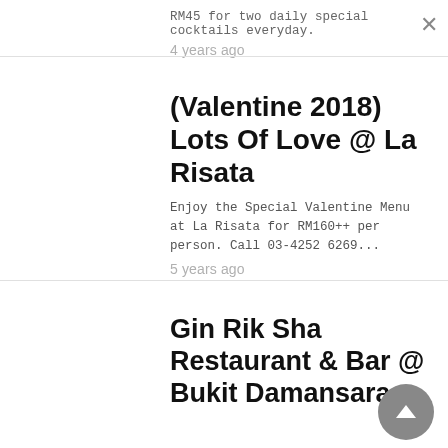RM45 for two daily special cocktails everyday.
4 years ago
(Valentine 2018) Lots Of Love @ La Risata
Enjoy the Special Valentine Menu at La Risata for RM160++ per person. Call 03-4252 6269...
5 years ago
Gin Rik Sha Restaurant & Bar @ Bukit Damansara